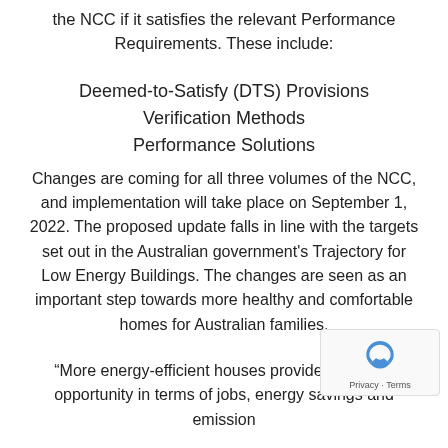the NCC if it satisfies the relevant Performance Requirements. These include:
Deemed-to-Satisfy (DTS) Provisions
Verification Methods
Performance Solutions
Changes are coming for all three volumes of the NCC, and implementation will take place on September 1, 2022. The proposed update falls in line with the targets set out in the Australian government's Trajectory for Low Energy Buildings. The changes are seen as an important step towards more healthy and comfortable homes for Australian families.
“More energy-efficient houses provide a win-win opportunity in terms of jobs, energy savings and emission